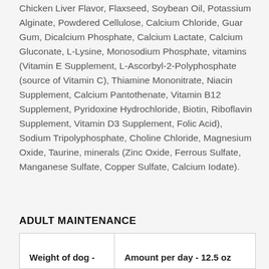Chicken Liver Flavor, Flaxseed, Soybean Oil, Potassium Alginate, Powdered Cellulose, Calcium Chloride, Guar Gum, Dicalcium Phosphate, Calcium Lactate, Calcium Gluconate, L-Lysine, Monosodium Phosphate, vitamins (Vitamin E Supplement, L-Ascorbyl-2-Polyphosphate (source of Vitamin C), Thiamine Mononitrate, Niacin Supplement, Calcium Pantothenate, Vitamin B12 Supplement, Pyridoxine Hydrochloride, Biotin, Riboflavin Supplement, Vitamin D3 Supplement, Folic Acid), Sodium Tripolyphosphate, Choline Chloride, Magnesium Oxide, Taurine, minerals (Zinc Oxide, Ferrous Sulfate, Manganese Sulfate, Copper Sulfate, Calcium Iodate).
ADULT MAINTENANCE
| Weight of dog - | Amount per day - 12.5 oz |
| --- | --- |